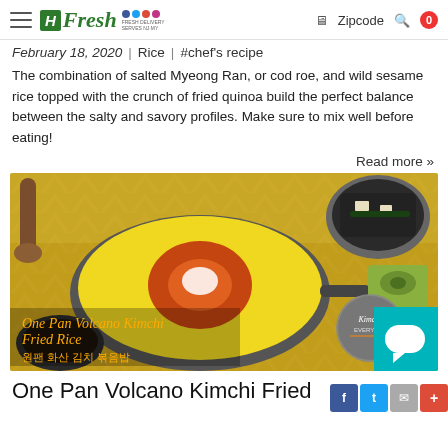H Fresh | Zipcode | 0
February 18, 2020  |  Rice  |  #chef's recipe
The combination of salted Myeong Ran, or cod roe, and wild sesame rice topped with the crunch of fried quinoa build the perfect balance between the salty and savory profiles. Make sure to mix well before eating!
Read more »
[Figure (photo): Food photo showing One Pan Volcano Kimchi Fried Rice dish in a pan with yellow egg topping and fried kimchi center, with side dishes including soup and green vegetables. Text overlay reads 'One Pan Volcano Kimchi Fried Rice / 원팬 화산 김치 볶음밥' with Kimchi Everyday badge.]
One Pan Volcano Kimchi Fried Rice